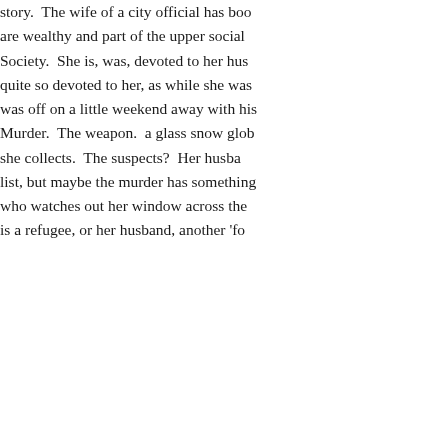story. The wife of a city official has been... are wealthy and part of the upper social ... Society. She is, was, devoted to her hus... quite so devoted to her, as while she was... was off on a little weekend away with his... Murder. The weapon. a glass snow glob... she collects. The suspects? Her husba... list, but maybe the murder has something... who watches out her window across the ... is a refugee, or her husband, another 'fo...
This is such a multilayered story. You ke... like an onion. Each layer hiding, or reve... and surprising. I have found that when y... Maurizio de Giovanni you get your mone... much to his stories you feel like you are i... whole different world. This one is popula... interesting characters with interesting live... reading how they all relate to each other... partners. There is so much beneath the... might have been resolved in this story, b... characters' lives remains open ended. M... to pick up the next book in the series.
Posted on December 13, 2017 in 2017 Read Boo...